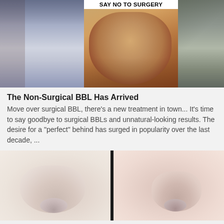[Figure (photo): Three-panel image: left panel shows person in grey leggings from behind, center panel shows post-surgical result with 'SAY NO TO SURGERY' banner overlay, right panel shows person in grey outfit from behind]
The Non-Surgical BBL Has Arrived
Move over surgical BBL, there's a new treatment in town... It's time to say goodbye to surgical BBLs and unnatural-looking results. The desire for a "perfect" behind has surged in popularity over the last decade, ...
[Figure (photo): Before and after comparison of nose, split by a dark vertical divider: left side shows nose before treatment, right side shows nose after treatment]